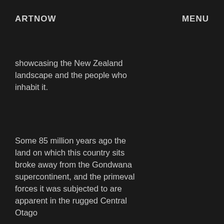ARTNOW    MENU
showcasing the New Zealand landscape and the people who inhabit it.
Some 85 million years ago the land on which this country sits broke away from the Gondwana supercontinent, and the primeval forces it was subjected to are apparent in the rugged Central Otago